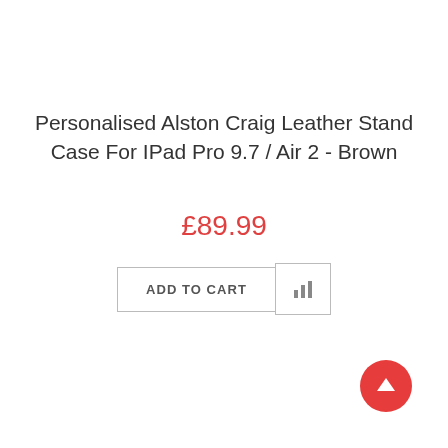Personalised Alston Craig Leather Stand Case For IPad Pro 9.7 / Air 2 - Brown
£89.99
[Figure (screenshot): Add to cart button and bar chart icon button side by side]
[Figure (infographic): Red circular back-to-top button with upward arrow icon]